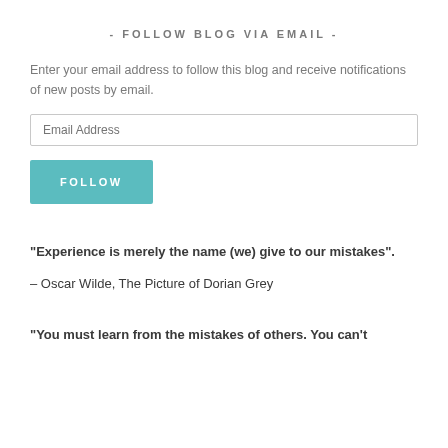- FOLLOW BLOG VIA EMAIL -
Enter your email address to follow this blog and receive notifications of new posts by email.
Email Address
FOLLOW
“Experience is merely the name (we) give to our mistakes”.
– Oscar Wilde, The Picture of Dorian Grey
“You must learn from the mistakes of others. You can’t